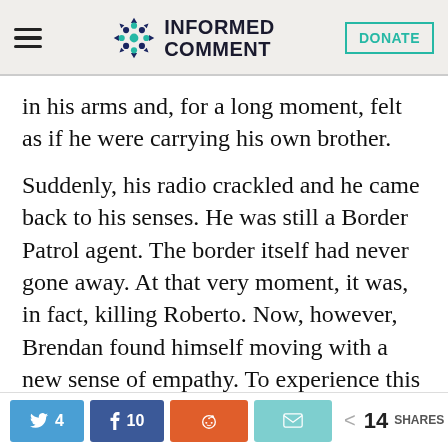INFORMED COMMENT | DONATE
in his arms and, for a long moment, felt as if he were carrying his own brother.
Suddenly, his radio crackled and he came back to his senses. He was still a Border Patrol agent. The border itself had never gone away. At that very moment, it was, in fact, killing Roberto. Now, however, Brendan found himself moving with a new sense of empathy. To experience this was little short of miraculous, given his intense
4 Twitter shares | 10 Facebook shares | Reddit share | Email share | 14 SHARES